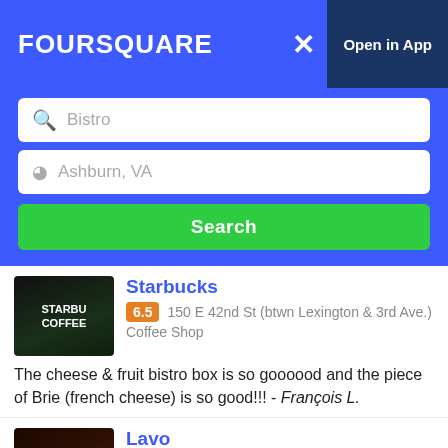FOURSQUARE  ×  Open in App
Bistro (search field)
Ashburn, VA (location field)
Search
Starbucks
6.5  150 E 42nd St (btwn Lexington & 3rd Ave.)  Coffee Shop
The cheese & fruit bistro box is so goooood and the piece of Brie (french cheese) is so good!!! - François L.
Lavo
8.2  39 E 58th St (btwn Park & Madison Ave)  Nightclub
Great Italian bistro ! Fabulous night club . - Miss A
P.J. Clarke's
8.6  915 3rd Ave (at E 55th St)